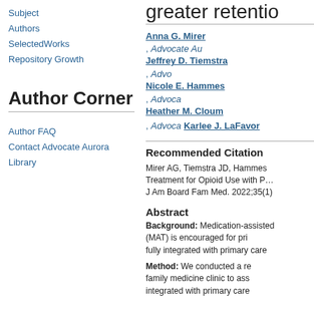Subject
Authors
SelectedWorks
Repository Growth
Author Corner
Author FAQ
Contact Advocate Aurora Library
greater retentio…
Anna G. Mirer, Advocate Au…
Jeffrey D. Tiemstra, Advo…
Nicole E. Hammes, Advoca…
Heather M. Cloum, Advoca…
Karlee J. LaFavor
Recommended Citation
Mirer AG, Tiemstra JD, Hammes… Treatment for Opioid Use with P… J Am Board Fam Med. 2022;35(1)…
Abstract
Background: Medication-assisted treatment (MAT) is encouraged for primary care but is not fully integrated with primary care…
Method: We conducted a retrospective review at a family medicine clinic to assess how well MAT is integrated with primary care…